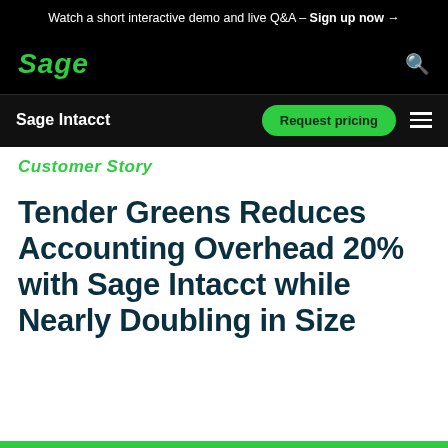Watch a short interactive demo and live Q&A – Sign up now →
[Figure (logo): Sage logo in green italic text on black background with search icon]
Sage Intacct  Request pricing
Customer Story
Tender Greens Reduces Accounting Overhead 20% with Sage Intacct while Nearly Doubling in Size